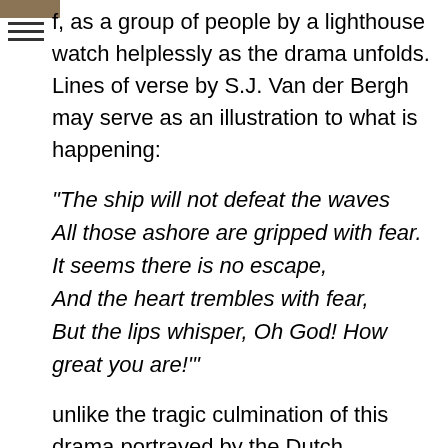f, as a group of people by a lighthouse watch helplessly as the drama unfolds. Lines of verse by S.J. Van der Bergh may serve as an illustration to what is happening:
"The ship will not defeat the waves
All those ashore are gripped with fear.
It seems there is no escape,
And the heart trembles with fear,
But the lips whisper, Oh God! How great you are!"
unlike the tragic culmination of this drama portrayed by the Dutch seascape artist, Ivan Aivazovsky, the Russian painter famous for "singing praise to the sea", was represented by his "End of a Storm at Sea" (1839, Tretyakov Gallery). The thunderstorm is fading on the horizon, and the sky is clearing: soon the waves will